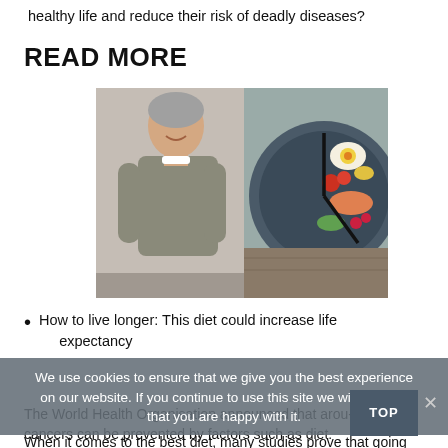healthy life and reduce their risk of deadly diseases?
READ MORE
[Figure (photo): A smiling older man in a grey sweater standing next to a dark plate arranged as a clock face with colorful healthy foods on the right half]
How to live longer: This diet could increase life expectancy
We use cookies to ensure that we give you the best experience on our website. If you continue to use this site we will assume that you are happy with it.
The World Health Organisation announced that arou- third of all cancers can be prevented by factors such as diet.
When it comes to the best diet, many studies prove that going